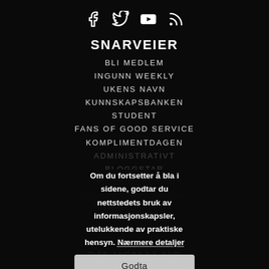[Figure (illustration): Social media icons: Facebook, Twitter, YouTube, RSS feed - white on black background]
SNARVEIER
BLI MEDLEM
INGUNN WEEKLY
UKENS NAVN
KUNNSKAPSBANKEN
STUDENT
FANS OF GOOD SERVICE
KOMPLIMENTDAGEN
Om du fortsetter å bla i sidene, godtar du nettstedets bruk av informasjonskapsler, utelukkende av praktiske hensyn. Nærmere detaljer
ADMINISTRATIVT
BLOGGSTAR
INNLEGGSVORDMI
KOMMENTARSFROUM
WORDPRESS
OM HSMAI.NO